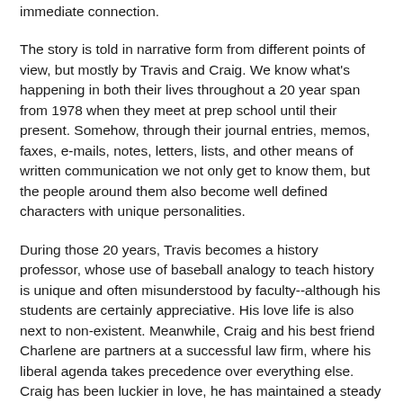immediate connection.
The story is told in narrative form from different points of view, but mostly by Travis and Craig. We know what's happening in both their lives throughout a 20 year span from 1978 when they meet at prep school until their present. Somehow, through their journal entries, memos, faxes, e-mails, notes, letters, lists, and other means of written communication we not only get to know them, but the people around them also become well defined characters with unique personalities.
During those 20 years, Travis becomes a history professor, whose use of baseball analogy to teach history is unique and often misunderstood by faculty--although his students are certainly appreciative. His love life is also next to non-existent. Meanwhile, Craig and his best friend Charlene are partners at a successful law firm, where his liberal agenda takes precedence over everything else. Craig has been luckier in love, he has maintained a steady relationship with his live-in partner of 12 years, Clayton.
The next chapter...